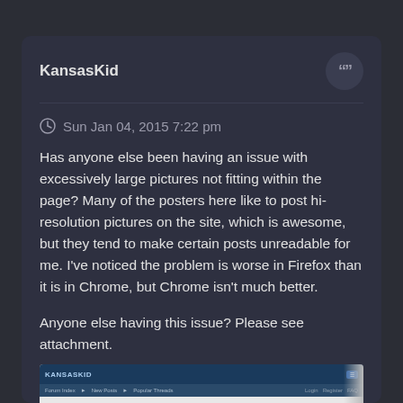KansasKid
Sun Jan 04, 2015 7:22 pm
Has anyone else been having an issue with excessively large pictures not fitting within the page? Many of the posters here like to post hi-resolution pictures on the site, which is awesome, but they tend to make certain posts unreadable for me. I've noticed the problem is worse in Firefox than it is in Chrome, but Chrome isn't much better.
Anyone else having this issue? Please see attachment.
[Figure (screenshot): Screenshot of a forum page showing a thread about low mileage results, with a car image visible at the bottom portion of the screenshot]